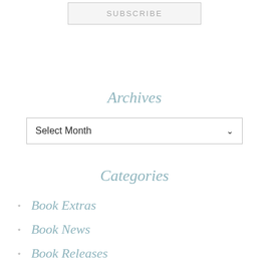SUBSCRIBE
Archives
Select Month
Categories
Book Extras
Book News
Book Releases
Book Trailers